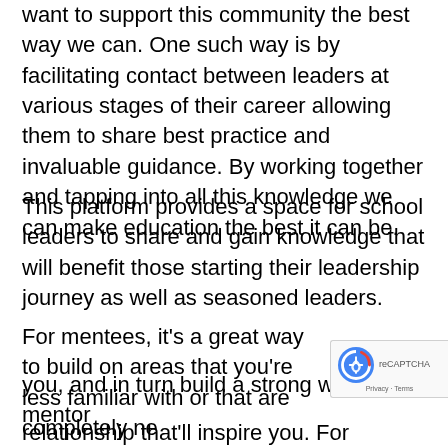want to support this community the best way we can. One such way is by facilitating contact between leaders at various stages of their career allowing them to share best practice and invaluable guidance. By working together and tapping into all this knowledge we can make education the best it can be.
This platform provides a space for school leaders to share and gain knowledge that will benefit those starting their leadership journey as well as seasoned leaders.
For mentees, it's a great way to build on areas that you're less familiar with or that are completely new to you, and in turn build a strong working mentor relationship that'll inspire you. For mentors, it's a chance